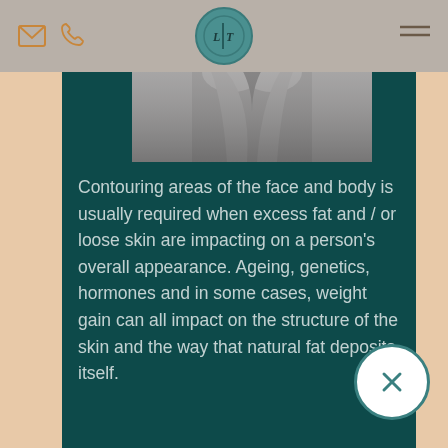Navigation bar with email icon, phone icon, LIT logo, and hamburger menu
[Figure (photo): Grayscale image of a person's legs, cropped to show inner thighs/knees from close range]
Contouring areas of the face and body is usually required when excess fat and / or loose skin are impacting on a person's overall appearance. Ageing, genetics, hormones and in some cases, weight gain can all impact on the structure of the skin and the way that natural fat deposits itself.